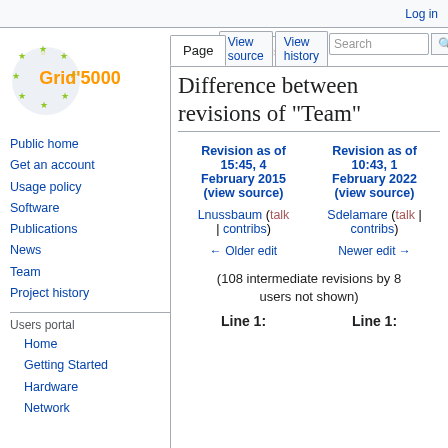Log in
[Figure (logo): Grid'5000 logo with star circle and orange text]
Public home
Get an account
Usage policy
Software
Publications
News
Team
Project history
Users portal
Home
Getting Started
Hardware
Network
Difference between revisions of "Team"
| Revision as of 15:45, 4 February 2015 (view source) | Revision as of 10:43, 1 February 2022 (view source) |
| --- | --- |
| Lnussbaum (talk | contribs) | Sdelamare (talk | contribs) |
| ← Older edit | Newer edit → |
(108 intermediate revisions by 8 users not shown)
Line 1:    Line 1: